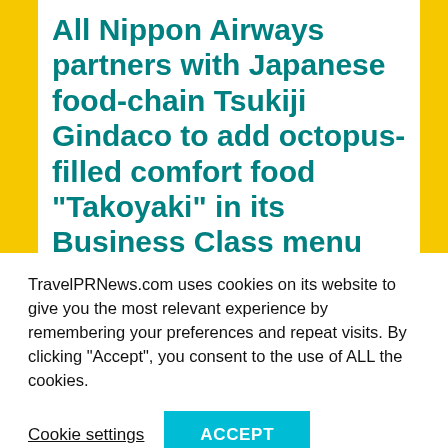All Nippon Airways partners with Japanese food-chain Tsukiji Gindaco to add octopus-filled comfort food “Takoyaki” in its Business Class menu
Posted on November 29, 2018 by Travel PR News Editor
[Figure (photo): Image placeholder for article photo]
Tsukiji Gindaco’s “Takoyaki” delicacy to be available as a light ... in Business Class...
TravelPRNews.com uses cookies on its website to give you the most relevant experience by remembering your preferences and repeat visits. By clicking “Accept”, you consent to the use of ALL the cookies.